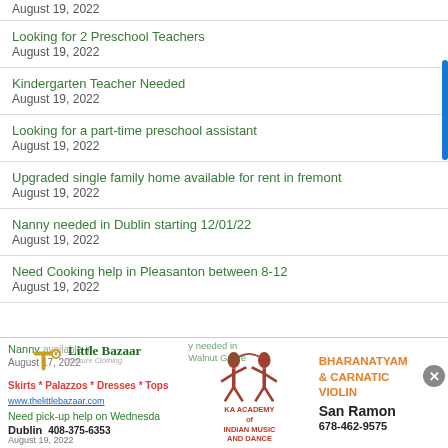August 19, 2022
Looking for 2 Preschool Teachers
August 19, 2022
Kindergarten Teacher Needed
August 19, 2022
Looking for a part-time preschool assistant
August 19, 2022
Upgraded single family home available for rent in fremont
August 19, 2022
Nanny needed in Dublin starting 12/01/22
August 19, 2022
Need Cooking help in Pleasanton between 8-12
August 19, 2022
[Figure (advertisement): Advertisement bar with three ads: Little Bazaar leisure clothing ad with logo, phone 408-375-6353, Dublin; KA Academy of Indian Music and Dance dancer logo; Bharanatyam & Carnatic Violin San Ramon 678-462-9575]